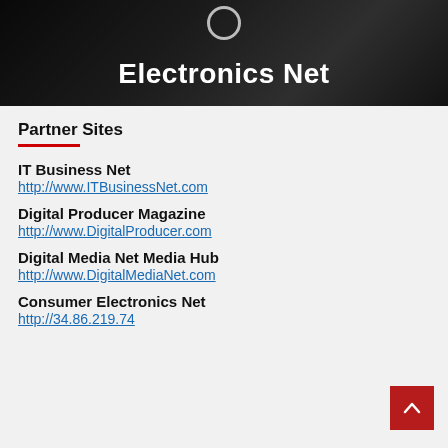[Figure (photo): Dark hero banner image with people in background, title 'Electronics Net' in bold white text centered, with a circle icon above the text]
Partner Sites
IT Business Net
http://www.ITBusinessNet.com
Digital Producer Magazine
http://www.DigitalProducer.com
Digital Media Net Media Hub
http://www.DigitalMediaNet.com
Consumer Electronics Net
http://34.86.219.74